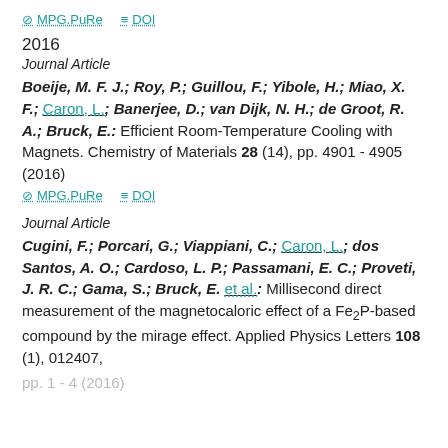MPG.PuRe   DOI
2016
Journal Article
Boeije, M. F. J.; Roy, P.; Guillou, F.; Yibole, H.; Miao, X. F.; Caron, L.; Banerjee, D.; van Dijk, N. H.; de Groot, R. A.; Bruck, E.: Efficient Room-Temperature Cooling with Magnets. Chemistry of Materials 28 (14), pp. 4901 - 4905 (2016)
MPG.PuRe   DOI
Journal Article
Cugini, F.; Porcari, G.; Viappiani, C.; Caron, L.; dos Santos, A. O.; Cardoso, L. P.; Passamani, E. C.; Proveti, J. R. C.; Gama, S.; Bruck, E. et al.: Millisecond direct measurement of the magnetocaloric effect of a Fe2P-based compound by the mirage effect. Applied Physics Letters 108 (1), 012407, pp. 1 - 4 (2016)